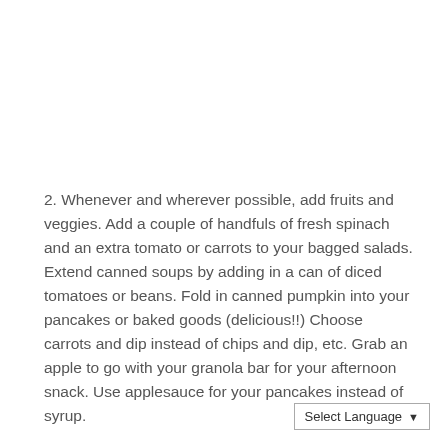2. Whenever and wherever possible, add fruits and veggies. Add a couple of handfuls of fresh spinach and an extra tomato or carrots to your bagged salads. Extend canned soups by adding in a can of diced tomatoes or beans. Fold in canned pumpkin into your pancakes or baked goods (delicious!!) Choose carrots and dip instead of chips and dip, etc. Grab an apple to go with your granola bar for your afternoon snack. Use applesauce for your pancakes instead of syrup.
Select Language ▾